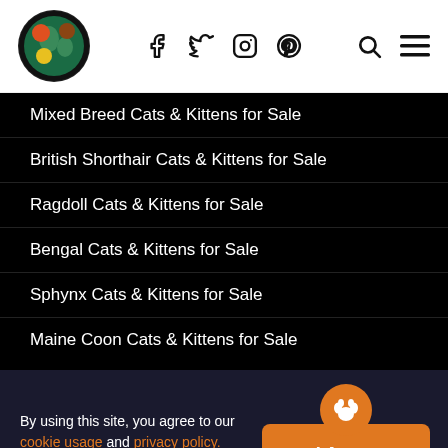Pet website header with logo, social icons (Facebook, Twitter, Instagram, Pinterest), search and menu icons
[Figure (illustration): BitLife advertisement banner with rainbow gradient background and cartoon emoji face with star eyes]
Mixed Breed Cats & Kittens for Sale
British Shorthair Cats & Kittens for Sale
Ragdoll Cats & Kittens for Sale
Bengal Cats & Kittens for Sale
Sphynx Cats & Kittens for Sale
Maine Coon Cats & Kittens for Sale
By using this site, you agree to our cookie usage and privacy policy.
Birds for Sale